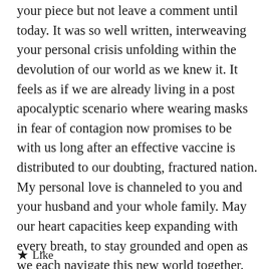your piece but not leave a comment until today. It was so well written, interweaving your personal crisis unfolding within the devolution of our world as we knew it. It feels as if we are already living in a post apocalyptic scenario where wearing masks in fear of contagion now promises to be with us long after an effective vaccine is distributed to our doubting, fractured nation. My personal love is channeled to you and your husband and your whole family. May our heart capacities keep expanding with every breath, to stay grounded and open as we each navigate this new world together. Thanks for your writing to help keep us focused on what is truly important.
Like